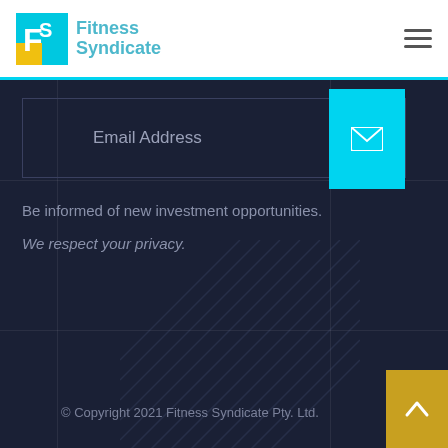[Figure (logo): Fitness Syndicate logo with FS icon in cyan/yellow and text 'Fitness Syndicate' in cyan]
Email Address
[Figure (illustration): Cyan email/envelope icon button on right side of email input]
Be informed of new investment opportunities.
We respect your privacy.
© Copyright 2021 Fitness Syndicate Pty. Ltd.